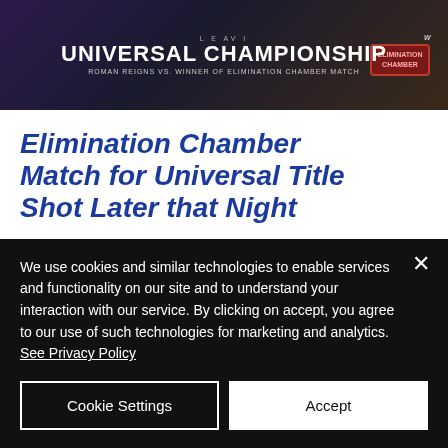[Figure (photo): WWE Universal Championship banner showing 'UNIVERSAL CHAMPIONSHIP - ROMAN REIGNS vs. WINNER OF ELIMINATION CHAMBER MATCH' with Elimination Chamber logo on the right]
Elimination Chamber Match for Universal Title Shot Later that Night
Sami is the first to make his way to the chamber with his camera crew. As he enters his pod, the ref makes the
We use cookies and similar technologies to enable services and functionality on our site and to understand your interaction with our service. By clicking on accept, you agree to our use of such technologies for marketing and analytics. See Privacy Policy
Cookie Settings
Accept